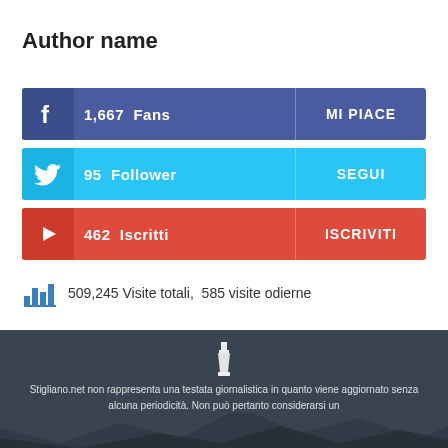Author name
[Figure (infographic): Social media bar showing Facebook 1,667 Fans MI PIACE]
[Figure (infographic): Social media bar showing Twitter 95 Follower SEGUI]
[Figure (infographic): Social media bar showing YouTube 462 Iscritti ISCRIVITI]
509,245 Visite totali,  585 visite odierne
[Figure (illustration): Footer with dark blue-gray background showing Stigliano.net logo with lighthouse icon]
Stigliano.net non rappresenta una testata giornalistica in quanto viene aggiornato senza alcuna periodicità. Non può pertanto considerarsi un